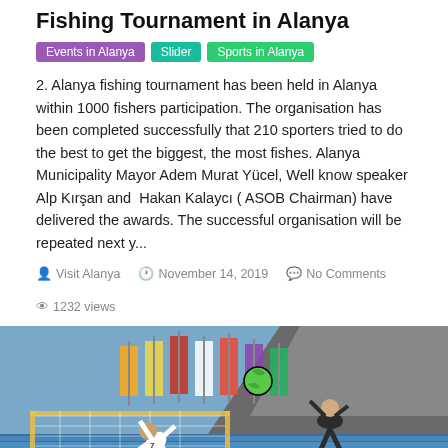Fishing Tournament in Alanya
Events in Alanya | Slider | Sports in Alanya
2. Alanya fishing tournament has been held in Alanya within 1000 fishers participation. The organisation has been completed successfully that 210 sporters tried to do the best to get the biggest, the most fishes. Alanya Municipality Mayor Adem Murat Yücel, Well know speaker Alp Kırşan and Hakan Kalaycı ( ASOB Chairman) have delivered the awards. The successful organisation will be repeated next y...
Visit Alanya   November 14, 2019   No Comments   1232 views
[Figure (photo): Beach soccer / handball action photo showing two players, one performing a bicycle kick in white jersey and another in black jersey jumping near the ball, with colorful flags and rocky mountain in background.]
Champions League of Beach Soccer in Alanya
Events in Alanya | Slider | Sports in Alanya